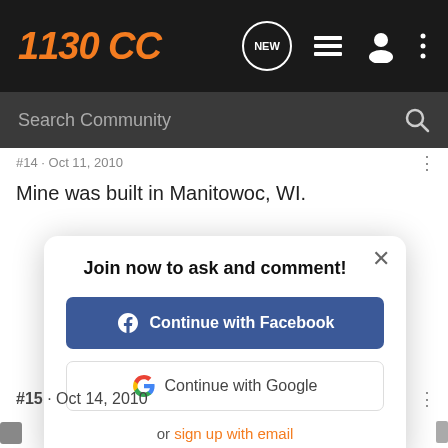1130CC
Search Community
#14  ·  Oct 11, 2010
Mine was built in Manitowoc, WI.
Join now to ask and comment!
Continue with Facebook
Continue with Google
or sign up with email
#15  ·  Oct 14, 2010